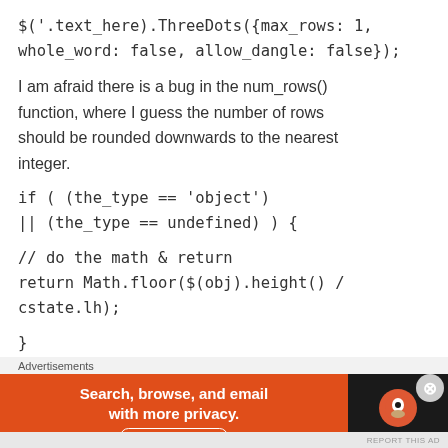$('.text_here).ThreeDots({max_rows: 1, whole_word: false, allow_dangle: false});
I am afraid there is a bug in the num_rows() function, where I guess the number of rows should be rounded downwards to the nearest integer.
if ( (the_type == 'object')
|| (the_type == undefined) ) {
// do the math & return
return Math.floor($(obj).height() / cstate.lh);
}
Advertisements
[Figure (infographic): DuckDuckGo advertisement banner: orange background with text 'Search, browse, and email with more privacy. All in One Free App' and dark panel with DuckDuckGo logo.]